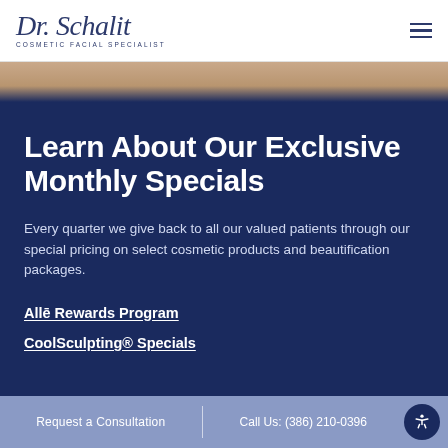[Figure (logo): Dr. Schalit Cosmetic Facial Specialist logo in navy script font]
[Figure (photo): Close-up skin/face photo strip at top of page]
Learn About Our Exclusive Monthly Specials
Every quarter we give back to all our valued patients through our special pricing on select cosmetic products and beautification packages.
Allē Rewards Program
CoolSculpting® Specials
Request a Consultation  |  Call Us: (386) 210-0396